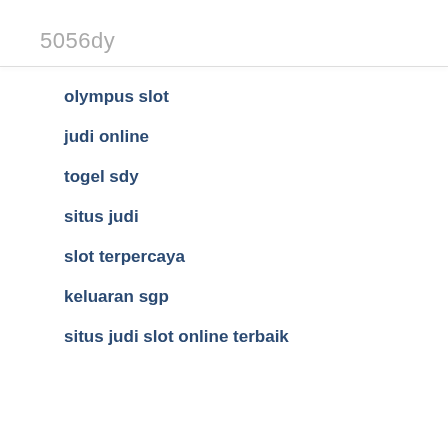5056dy
olympus slot
judi online
togel sdy
situs judi
slot terpercaya
keluaran sgp
situs judi slot online terbaik